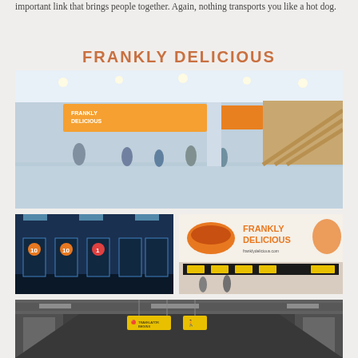important link that brings people together. Again, nothing transports you like a hot dog.
FRANKLY DELICIOUS
[Figure (photo): Wide-angle interior view of a large airport terminal with a 'Frankly Delicious' advertising banner, escalators, and many people walking on a shiny floor.]
[Figure (photo): Airport or transit turnstile gates area with numbered kiosks (10, 10, 1) against a blue-lit background.]
[Figure (photo): Frankly Delicious advertisement billboard showing a hot dog and the brand logo, with airport terminal and signage visible below.]
[Figure (photo): A long airport walkway/travelator corridor in grayscale, with yellow overhead signs reading 'TRAVELATOR BEGINS' and a walking figure icon.]